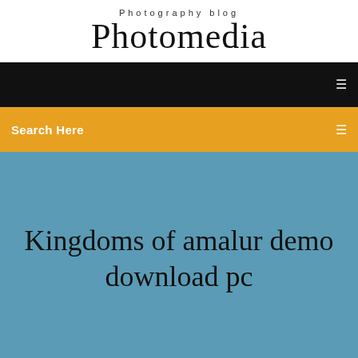Photography blog
Photomedia
[Figure (screenshot): Black navigation bar with a small white menu icon on the right]
[Figure (screenshot): Yellow/amber search bar with 'Search Here' text on the left and a small white icon on the right]
Kingdoms of amalur demo download pc